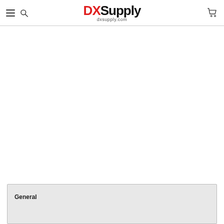DXSupply dxsupply.com
| General |
| --- |